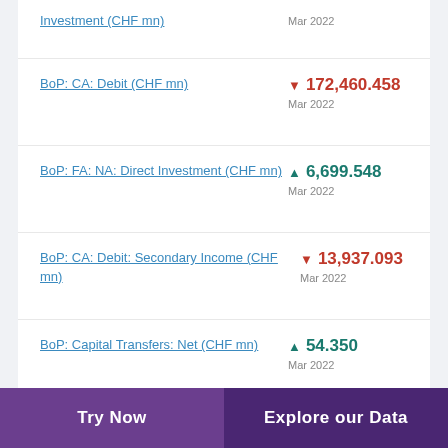Investment (CHF mn) — Mar 2022
BoP: CA: Debit (CHF mn) ▼ 172,460.458 Mar 2022
BoP: FA: NA: Direct Investment (CHF mn) ▲ 6,699.548 Mar 2022
BoP: CA: Debit: Secondary Income (CHF mn) ▼ 13,937.093 Mar 2022
BoP: Capital Transfers: Net (CHF mn) ▲ 54.350 Mar 2022
Try Now   Explore our Data